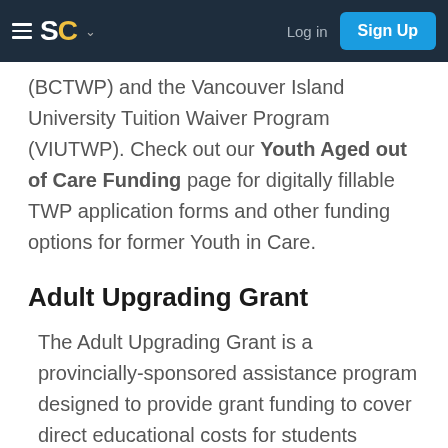SC Log in Sign Up
(BCTWP) and the Vancouver Island University Tuition Waiver Program (VIUTWP). Check out our Youth Aged out of Care Funding page for digitally fillable TWP application forms and other funding options for former Youth in Care.
Adult Upgrading Grant
The Adult Upgrading Grant is a provincially-sponsored assistance program designed to provide grant funding to cover direct educational costs for students enrolled in recognized Adult Basic